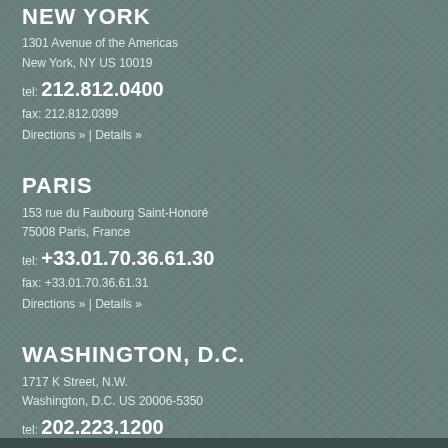NEW YORK
1301 Avenue of the Americas
New York, NY US 10019
tel: 212.812.0400
fax: 212.812.0399
Directions » | Details »
PARIS
153 rue du Faubourg Saint-Honoré
75008 Paris, France
tel: +33.01.70.36.61.30
fax: +33.01.70.36.61.31
Directions » | Details »
WASHINGTON, D.C.
1717 K Street, N.W.
Washington, D.C. US 20006-5350
tel: 202.223.1200
fax: 202.785.6687
Directions » | Details »